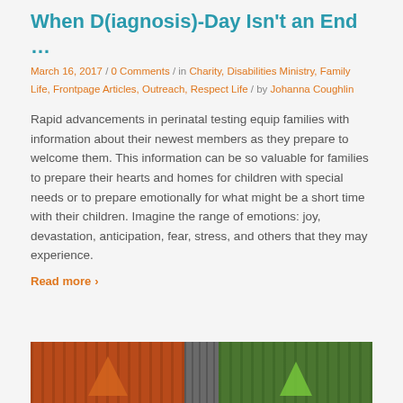When D(iagnosis)-Day Isn't an End …
March 16, 2017 / 0 Comments / in Charity, Disabilities Ministry, Family Life, Frontpage Articles, Outreach, Respect Life / by Johanna Coughlin
Rapid advancements in perinatal testing equip families with information about their newest members as they prepare to welcome them. This information can be so valuable for families to prepare their hearts and homes for children with special needs or to prepare emotionally for what might be a short time with their children. Imagine the range of emotions: joy, devastation, anticipation, fear, stress, and others that they may experience.
Read more ›
[Figure (photo): A colorful photo at the bottom of the page showing autumn leaves or paper shapes against a wooden background, split between two sections.]